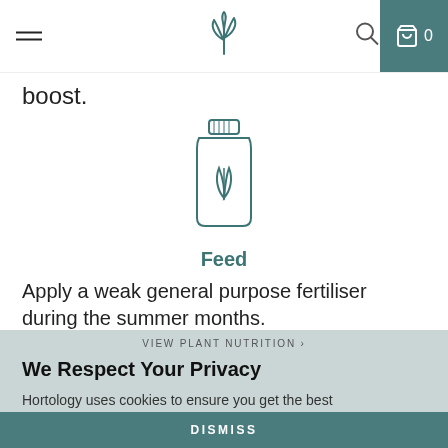Hortology website header with hamburger menu, plant logo, search icon, and cart (0)
boost.
[Figure (illustration): Line-art icon of a plant supplement bottle with a leaf symbol, labeled Feed]
Feed
Apply a weak general purpose fertiliser during the summer months.
VIEW PLANT NUTRITION >
We Respect Your Privacy
Hortology uses cookies to ensure you get the best experience. Learn more
Height & Growth Rate
Moderate to slow-growing and can trail up to 3m. Cut back to maintain desired length. Please note smaller plants such as those in 12cm grow pots are young cuttings and not fully established plants.
DISMISS